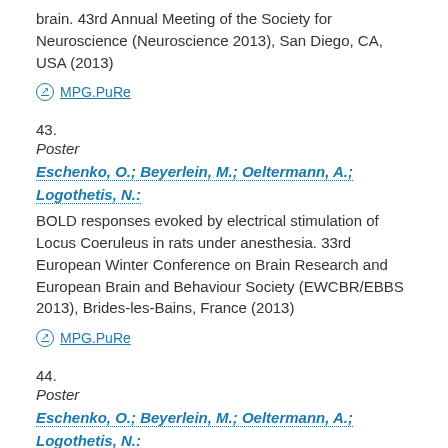brain. 43rd Annual Meeting of the Society for Neuroscience (Neuroscience 2013), San Diego, CA, USA (2013)
MPG.PuRe
43.
Poster
Eschenko, O.; Beyerlein, M.; Oeltermann, A.; Logothetis, N.:
BOLD responses evoked by electrical stimulation of Locus Coeruleus in rats under anesthesia. 33rd European Winter Conference on Brain Research and European Brain and Behaviour Society (EWCBR/EBBS 2013), Brides-les-Bains, France (2013)
MPG.PuRe
44.
Poster
Eschenko, O.; Beyerlein, M.; Oeltermann, A.; Logothetis, N.:
BOLD responses evoked by electrical stimulation of lo...